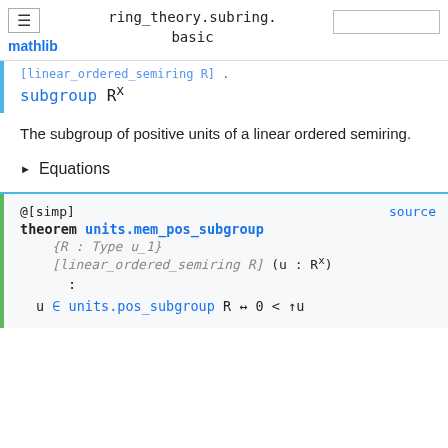ring_theory.subring.basic
[linear_ordered_semiring R] .
subgroup Rˣ
The subgroup of positive units of a linear ordered semiring.
▶ Equations
@[simp]
theorem units.mem_pos_subgroup
    {R : Type u_1}
    [linear_ordered_semiring R] (u : Rˣ)
    :
  u ∈ units.pos_subgroup R ↔ 0 < ↑u